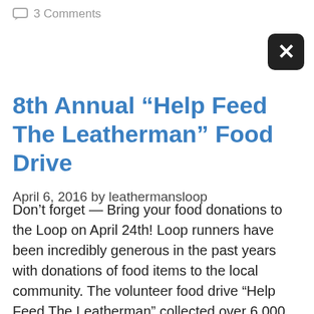3 Comments
8th Annual “Help Feed The Leatherman” Food Drive
April 6, 2016 by leathermansloop
Don’t forget — Bring your food donations to the Loop on April 24th! Loop runners have been incredibly generous in the past years with donations of food items to the local community. The volunteer food drive “Help Feed The Leatherman” collected over 6,000 pounds of food donations for the Community Center of Northern Westchester food pantry at the...